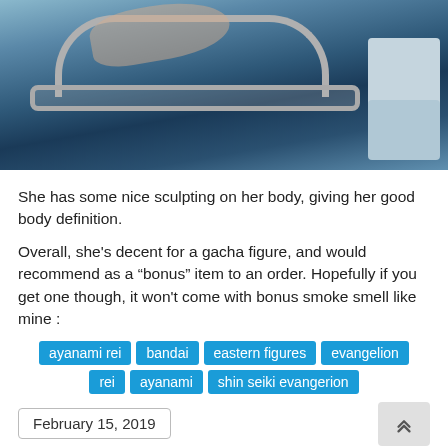[Figure (photo): Close-up photo of an anime figure (Ayanami Rei) showing sculpted body detail with metal bar and box prop elements against a dark blue background]
She has some nice sculpting on her body, giving her good body definition.
Overall, she's decent for a gacha figure, and would recommend as a “bonus” item to an order. Hopefully if you get one though, it won't come with bonus smoke smell like mine :
ayanami rei
bandai
eastern figures
evangelion
rei ayanami
shin seiki evangerion
February 15, 2019
Holo   Rock Candy   Thor: